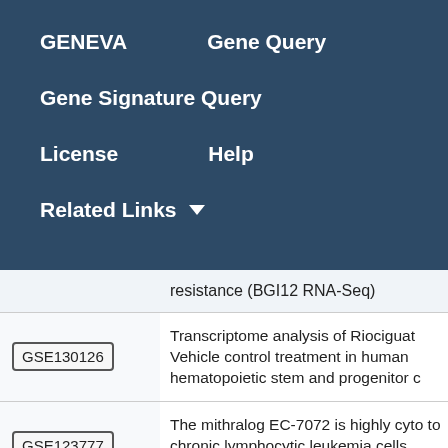GENEVA   Gene Query
Gene Signature Query
License   Help
Related Links ▼
| ID | Description |
| --- | --- |
|  | resistance (BGI12 RNA-Seq) |
| GSE130126 | Transcriptome analysis of Riociguat Vehicle control treatment in human hematopoietic stem and progenitor c |
| GSE123777 | The mithralog EC-7072 is highly cyto to chronic lymphocytic leukemia cells targeting the B-cell receptor signaling |